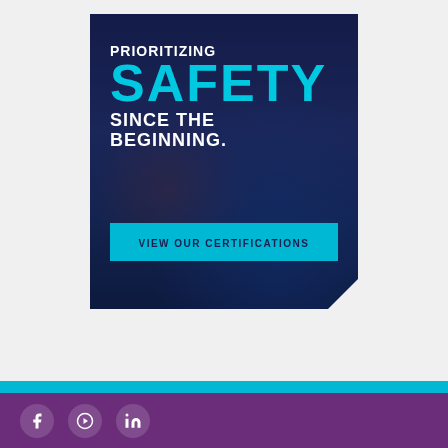[Figure (infographic): Safety certification promotional banner with dark blue background showing a street/traffic scene at night with a blue vehicle. Text reads 'PRIORITIZING SAFETY SINCE THE BEGINNING.' with a cyan 'VIEW OUR CERTIFICATIONS' button. Bottom right has a folded corner effect.]
[Figure (infographic): Page footer section with a teal/cyan horizontal stripe above a purple bar containing three circular social media icons (Facebook, YouTube/play, LinkedIn)]